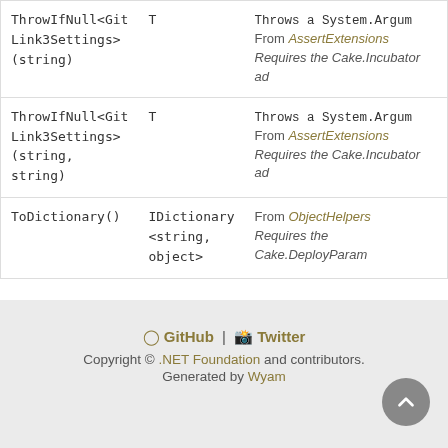| Name | Type | Description |
| --- | --- | --- |
| ThrowIfNull<GitLink3Settings>(string) | T | Throws a System.Argum
From AssertExtensions
Requires the Cake.Incubator ad |
| ThrowIfNull<GitLink3Settings>(string, string) | T | Throws a System.Argum
From AssertExtensions
Requires the Cake.Incubator ad |
| ToDictionary() | IDictionary<string, object> | From ObjectHelpers
Requires the Cake.DeployParam |
GitHub | Twitter
Copyright © .NET Foundation and contributors.
Generated by Wyam